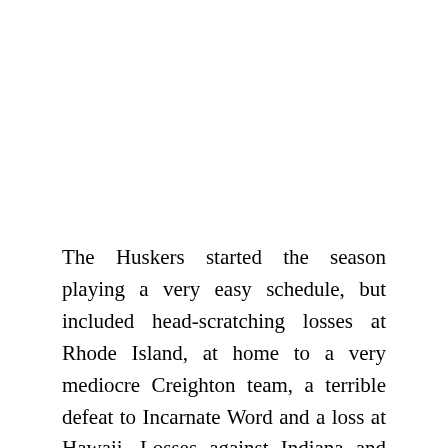The Huskers started the season playing a very easy schedule, but included head-scratching losses at Rhode Island, at home to a very mediocre Creighton team, a terrible defeat to Incarnate Word and a loss at Hawaii. Losses against Indiana and Iowa did not help give Nebraska fans any confidence, and the Huskers struggled through a home win against bottom dweller Rutgers and a reeling Illinois team. The turning point for this team, however, was a bad loss at Michigan, in